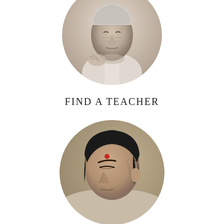[Figure (photo): Circular cropped black-and-white/sepia portrait photograph of an elderly man with white hair, wearing a light-colored shirt, hands possibly clasped near chin, looking contemplative.]
FIND A TEACHER
[Figure (photo): Circular cropped color photograph of a middle-aged Indian man with dark hair, a small red tilak mark on his forehead, looking downward. Background is warm/earthy tones.]